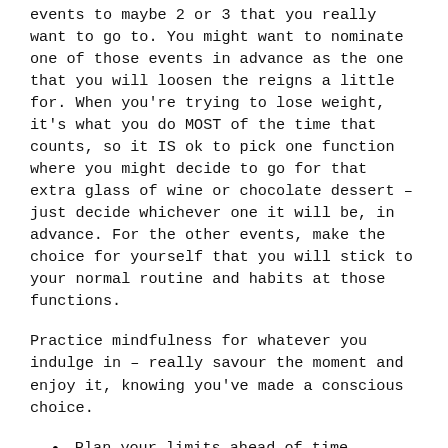events to maybe 2 or 3 that you really want to go to. You might want to nominate one of those events in advance as the one that you will loosen the reigns a little for. When you’re trying to lose weight, it’s what you do MOST of the time that counts, so it IS ok to pick one function where you might decide to go for that extra glass of wine or chocolate dessert – just decide whichever one it will be, in advance. For the other events, make the choice for yourself that you will stick to your normal routine and habits at those functions.
Practice mindfulness for whatever you indulge in – really savour the moment and enjoy it, knowing you’ve made a conscious choice.
Plan your limits ahead of time
If you’ve given yourself permission to loosen the reigns for one function, be mindful to keep it